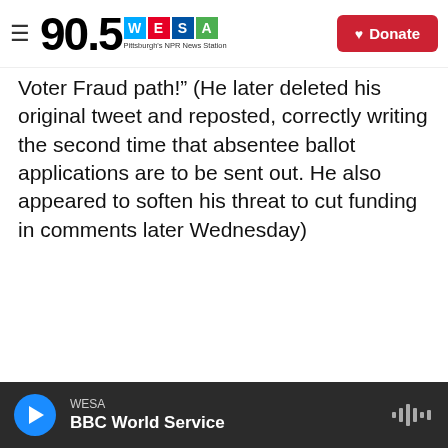90.5 WESA Pittsburgh's NPR News Station | Donate
Voter Fraud path!" (He later deleted his original tweet and reposted, correctly writing the second time that absentee ballot applications are to be sent out. He also appeared to soften his threat to cut funding in comments later Wednesday)
WESA | BBC World Service